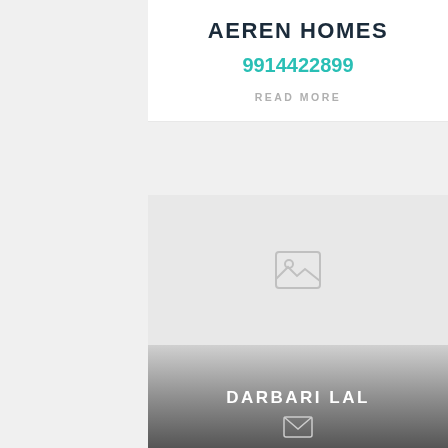AEREN HOMES
9914422899
READ MORE
[Figure (photo): Placeholder image icon (broken/missing image placeholder with mountain and sun icon)]
DARBARI LAL
[Figure (other): Email/envelope icon]